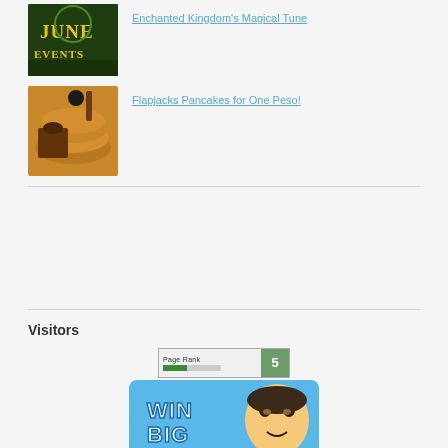[Figure (photo): Thumbnail image of June Events flyer for Enchanted Kingdom with green text on dark background]
Enchanted Kingdom's Magical Tune
[Figure (photo): Thumbnail image of pancakes with syrup – Flapjacks promotion]
Flapjacks Pancakes for One Peso!
Visitors
[Figure (infographic): Page Rank badge showing rank 5 with green bar]
[Figure (illustration): Win Big promotional banner with cartoon face]